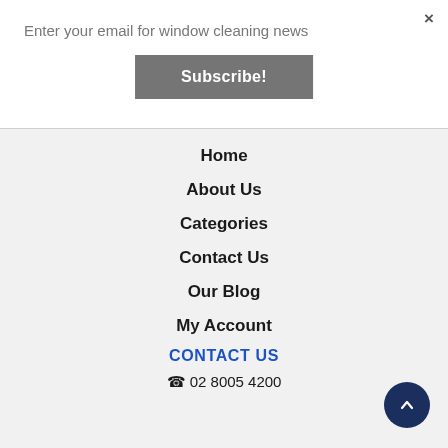Enter your email for window cleaning news
×
Subscribe!
Home
About Us
Categories
Contact Us
Our Blog
My Account
CONTACT US
☎ 02 8005 4200